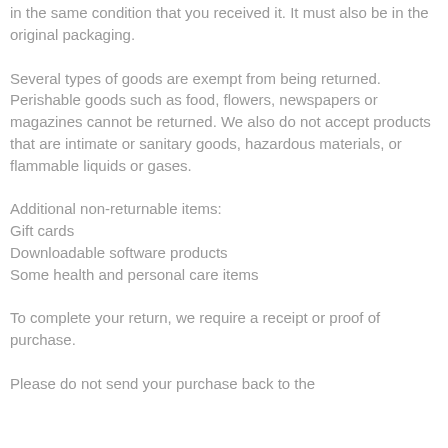in the same condition that you received it. It must also be in the original packaging.
Several types of goods are exempt from being returned. Perishable goods such as food, flowers, newspapers or magazines cannot be returned. We also do not accept products that are intimate or sanitary goods, hazardous materials, or flammable liquids or gases.
Additional non-returnable items:
Gift cards
Downloadable software products
Some health and personal care items
To complete your return, we require a receipt or proof of purchase.
Please do not send your purchase back to the